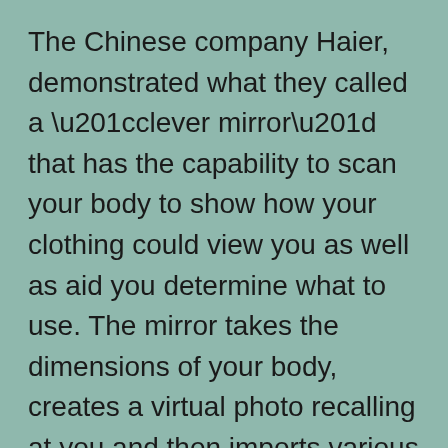The Chinese company Haier, demonstrated what they called a “clever mirror” that has the capability to scan your body to show how your clothing could view you as well as aid you determine what to use. The mirror takes the dimensions of your body, creates a virtual photo recalling at you and then imports various other pictures of a chosen thing of clothes into the mirror as well. It looks really brilliant.
It even has the possibility to connect with retail. In future you might be able to try on a blouse you have actually seen online and if it looks great, be shown the accessibility and also reta...